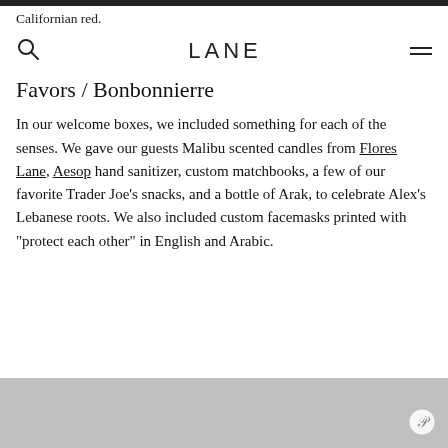Californian red.
LANE
Favors / Bonbonnierre
In our welcome boxes, we included something for each of the senses. We gave our guests Malibu scented candles from Flores Lane, Aesop hand sanitizer, custom matchbooks, a few of our favorite Trader Joe’s snacks, and a bottle of Arak, to celebrate Alex’s Lebanese roots. We also included custom facemasks printed with “protect each other” in English and Arabic.
[Figure (photo): Partial photo visible at bottom of page, gray/silver toned image with Pinterest save button overlay]